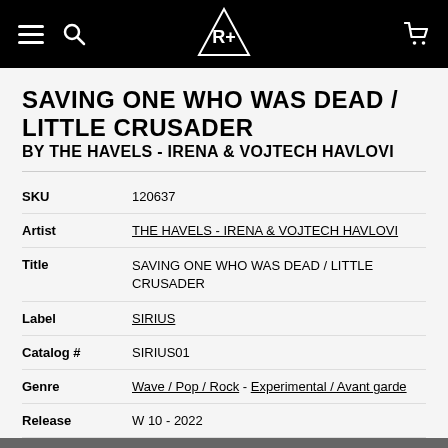Navigation bar with hamburger menu, search icon, logo, and cart icon
SAVING ONE WHO WAS DEAD / LITTLE CRUSADER
BY THE HAVELS - IRENA & VOJTECH HAVLOVI
| Field | Value |
| --- | --- |
| SKU | 120637 |
| Artist | THE HAVELS - IRENA & VOJTECH HAVLOVI |
| Title | SAVING ONE WHO WAS DEAD / LITTLE CRUSADER |
| Label | SIRIUS |
| Catalog # | SIRIUS01 |
| Genre | Wave / Pop / Rock - Experimental / Avant garde |
| Release | W 10 - 2022 |